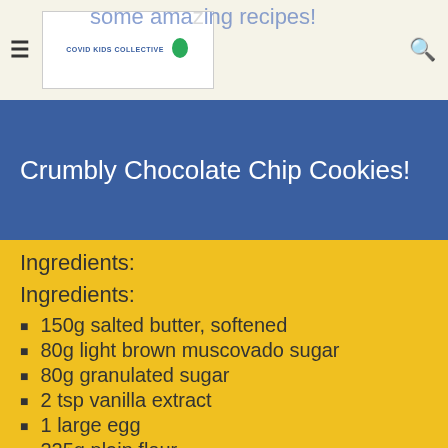Covid Kids Collective
Crumbly Chocolate Chip Cookies!
Ingredients:
Ingredients:
150g salted butter, softened
80g light brown muscovado sugar
80g granulated sugar
2 tsp vanilla extract
1 large egg
225g plain flour